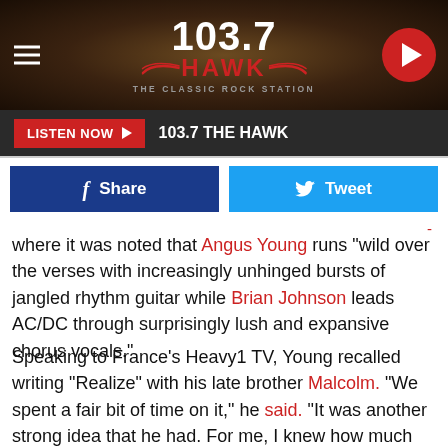[Figure (screenshot): 103.7 The Hawk radio station logo banner with dark textured background, hamburger menu icon on left, 103.7 THE HAWK logo in center with red hawk text and wings, and circular red play button on right]
[Figure (screenshot): Dark gray navigation bar with red LISTEN NOW button with play arrow and text '103.7 THE HAWK']
[Figure (screenshot): Social sharing bar with dark blue Facebook Share button and light blue Twitter Tweet button]
where it was noted that Angus Young runs "wild over the verses with increasingly unhinged bursts of jangled rhythm guitar while Brian Johnson leads AC/DC through surprisingly lush and expansive chorus vocals."
Speaking to France's Heavy1 TV, Young recalled writing "Realize" with his late brother Malcolm. "We spent a fair bit of time on it," he said. "It was another strong idea that he had. For me, I knew how much he really liked it. I remember when we originally were writing it, the effort that he put in and how he built it up. The thing is, I remember we had the